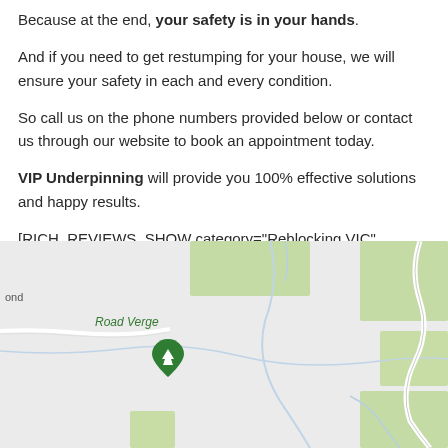Because at the end, your safety is in your hands.
And if you need to get restumping for your house, we will ensure your safety in each and every condition.
So call us on the phone numbers provided below or contact us through our website to book an appointment today.
VIP Underpinning will provide you 100% effective solutions and happy results.
[RICH_REVIEWS_SHOW category="Reblocking VIC" num="6"]
[Figure (map): Google Maps style map showing a location pin labeled 'Road Verge' with surrounding terrain featuring roads, waterways, and green areas.]